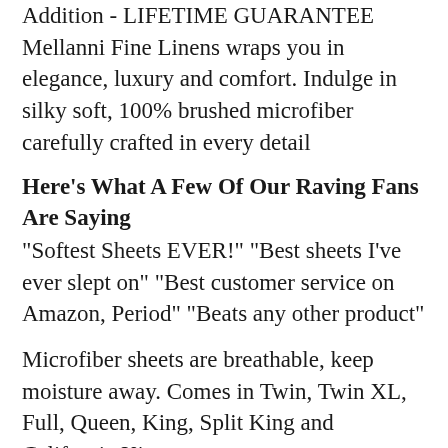Addition - LIFETIME GUARANTEE Mellanni Fine Linens wraps you in elegance, luxury and comfort. Indulge in silky soft, 100% brushed microfiber carefully crafted in every detail
Here's What A Few Of Our Raving Fans Are Saying
"Softest Sheets EVER!" "Best sheets I've ever slept on" "Best customer service on Amazon, Period" "Beats any other product"
Microfiber sheets are breathable, keep moisture away. Comes in Twin, Twin XL, Full, Queen, King, Split King and California King.